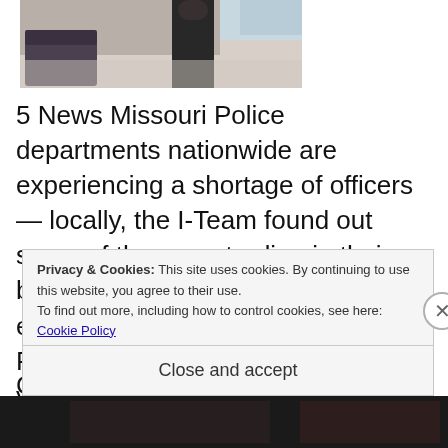[Figure (photo): A person standing in what appears to be an office or lobby area with chairs visible]
5 News Missouri Police departments nationwide are experiencing a shortage of officers — locally, the I-Team found out some of them are trading in their badges and going into an industry even they least expected. Take Joe Patterson, for example. He spent 11 years with the St. Louis C... t...
Privacy & Cookies: This site uses cookies. By continuing to use this website, you agree to their use.
To find out more, including how to control cookies, see here: Cookie Policy
Close and accept